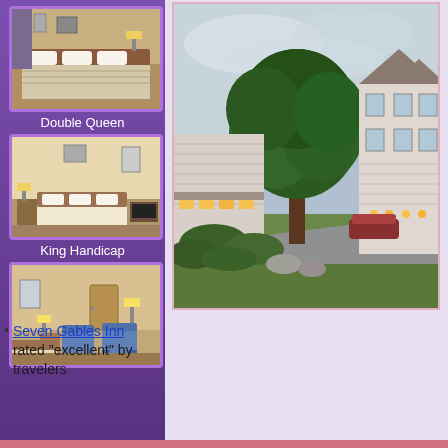[Figure (photo): Hotel room interior - Double Queen room showing two queen beds with striped bedspread, dark wood headboard, lamp, and wall art]
Double Queen
[Figure (photo): Hotel room interior - King Handicap room showing king bed, TV/dresser, nightstand with lamp, and carpet]
King Handicap
[Figure (photo): Hotel room interior with seating area, two armchairs, lamp, mirror, and door visible]
Seven Gables Inn rated "excellent" by travelers
[Figure (photo): Exterior photo of Seven Gables Inn showing hotel buildings with white siding and gabled roofline, large green tree in foreground, lit lanterns, parked car, and green lawn]